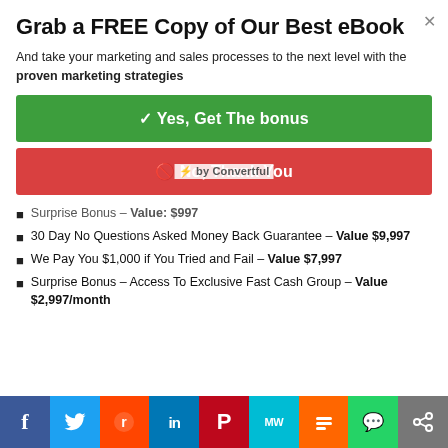Grab a FREE Copy of Our Best eBook
And take your marketing and sales processes to the next level with the proven marketing strategies
✓ Yes, Get The bonus
🚫 No, Thank You
Surprise Bonus – Value: $997
30 Day No Questions Asked Money Back Guarantee – Value $9,997
We Pay You $1,000 if You Tried and Fail – Value $7,997
Surprise Bonus – Access To Exclusive Fast Cash Group – Value $2,997/month